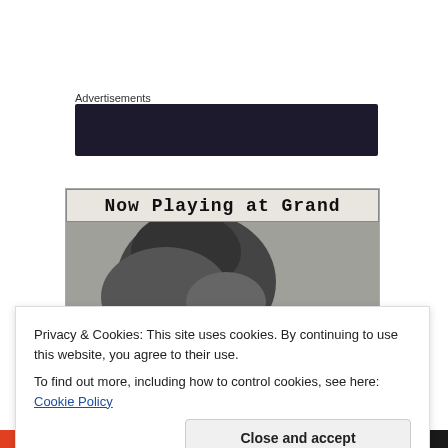Advertisements
[Figure (other): Dark advertisement banner placeholder]
[Figure (photo): Black and white newspaper clipping showing 'Now Playing at Grand' header with a photograph below]
Privacy & Cookies: This site uses cookies. By continuing to use this website, you agree to their use.
To find out more, including how to control cookies, see here: Cookie Policy
Close and accept